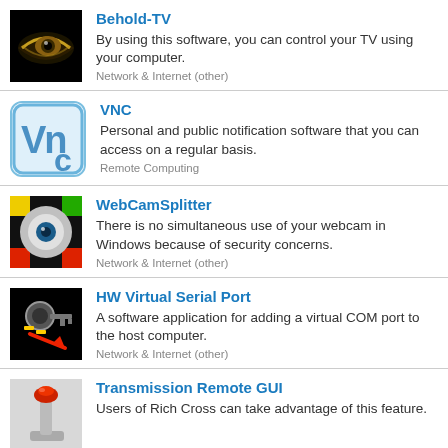Behold-TV
By using this software, you can control your TV using your computer.
Network & Internet (other)
VNC
Personal and public notification software that you can access on a regular basis.
Remote Computing
WebCamSplitter
There is no simultaneous use of your webcam in Windows because of security concerns.
Network & Internet (other)
HW Virtual Serial Port
A software application for adding a virtual COM port to the host computer.
Network & Internet (other)
Transmission Remote GUI
Users of Rich Cross can take advantage of this feature.